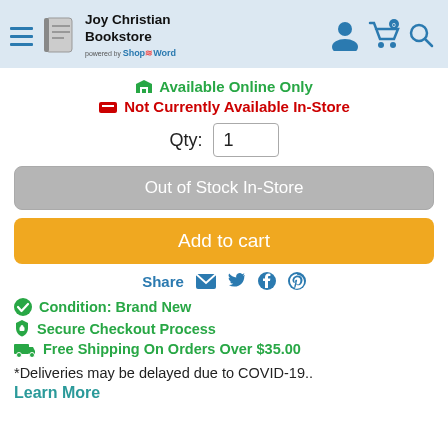[Figure (logo): Joy Christian Bookstore logo with hamburger menu, book icon, store name, and powered by ShopByWord text, plus user/cart/search icons on right]
🛒 Available Online Only
🖨 Not Currently Available In-Store
Qty: 1
Out of Stock In-Store
Add to cart
Share ✉ 🐦 f 📌
✅ Condition: Brand New
🔒 Secure Checkout Process
🚚 Free Shipping On Orders Over $35.00
*Deliveries may be delayed due to COVID-19..
Learn More